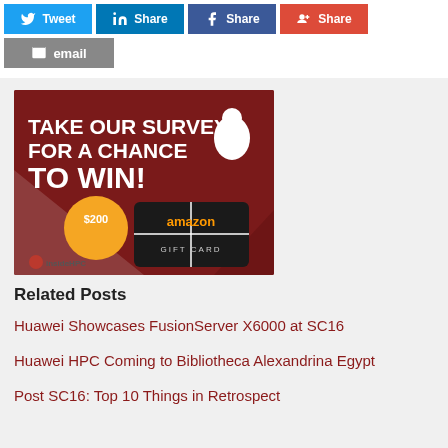[Figure (other): Social share buttons: Tweet (Twitter/blue), Share (LinkedIn/blue), Share (Facebook/dark blue), Share (Google+/red)]
[Figure (other): Email share button in grey]
[Figure (other): InsideHPC survey advertisement banner: 'TAKE OUR SURVEY FOR A CHANCE TO WIN!' with $200 Amazon Gift Card imagery on dark red background]
Related Posts
Huawei Showcases FusionServer X6000 at SC16
Huawei HPC Coming to Bibliotheca Alexandrina Egypt
Post SC16: Top 10 Things in Retrospect